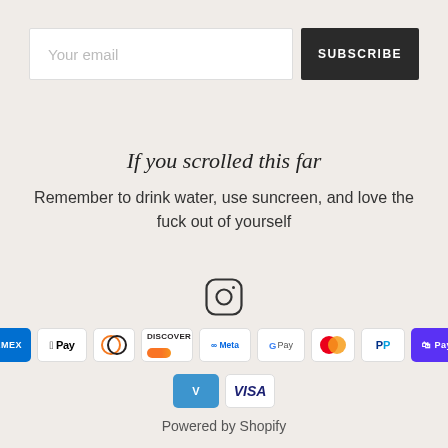Your email
SUBSCRIBE
If you scrolled this far
Remember to drink water, use suncreen, and love the fuck out of yourself
[Figure (illustration): Instagram icon - circle with rounded square camera outline]
[Figure (infographic): Payment method logos: American Express, Apple Pay, Diners Club, Discover, Meta Pay, Google Pay, Mastercard, PayPal, Shop Pay, Venmo, Visa]
Powered by Shopify